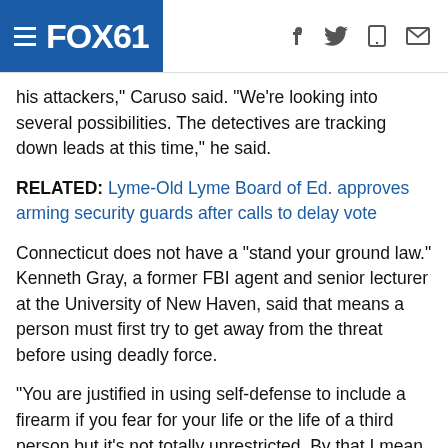FOX61
his attackers," Caruso said. "We're looking into several possibilities. The detectives are tracking down leads at this time," he said.
RELATED: Lyme-Old Lyme Board of Ed. approves arming security guards after calls to delay vote
Connecticut does not have a "stand your ground law." Kenneth Gray, a former FBI agent and senior lecturer at the University of New Haven, said that means a person must first try to get away from the threat before using deadly force.
"You are justified in using self-defense to include a firearm if you fear for your life or the life of a third person but it's not totally unrestricted. By that I mean if the person is threatening you, you can use deadly force but if you have other options for instance if you can run away, you have to run away," he said.